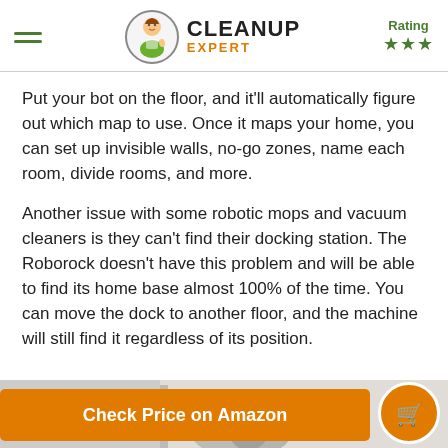CLEANUP EXPERT | Rating ★★★
Put your bot on the floor, and it'll automatically figure out which map to use. Once it maps your home, you can set up invisible walls, no-go zones, name each room, divide rooms, and more.
Another issue with some robotic mops and vacuum cleaners is they can't find their docking station. The Roborock doesn't have this problem and will be able to find its home base almost 100% of the time. You can move the dock to another floor, and the machine will still find it regardless of its position.
Stair Avoidance and Obstacle Handling
[Figure (photo): Partial view of a robotic mop/vacuum device near a wall, partially obscured by the Check Price on Amazon button overlay.]